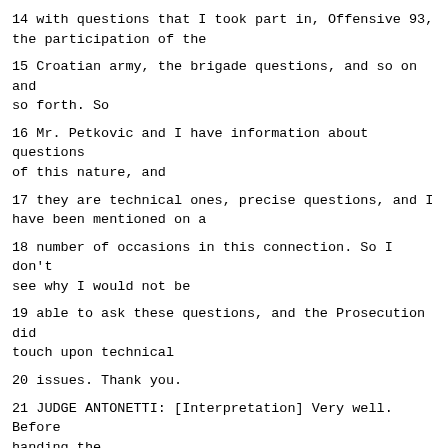14 with questions that I took part in, Offensive 93, the participation of the
15 Croatian army, the brigade questions, and so on and so forth. So
16 Mr. Petkovic and I have information about questions of this nature, and
17 they are technical ones, precise questions, and I have been mentioned on a
18 number of occasions in this connection. So I don't see why I would not be
19 able to ask these questions, and the Prosecution did touch upon technical
20 issues. Thank you.
21 JUDGE ANTONETTI: [Interpretation] Very well. Before handing the
22 floor to Mr. Scott, with regard to the 15 or 20 minutes, yesterday I was
23 told that during the cross-examination at one point Ms. Nozica stated that
24 the Defence of Mr. Praljak could give her 15 or 20 minutes. I don't know